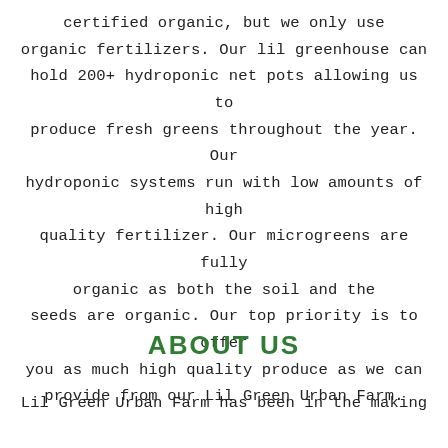certified organic, but we only use organic fertilizers. Our lil greenhouse can hold 200+ hydroponic net pots allowing us to produce fresh greens throughout the year. Our hydroponic systems run with low amounts of high quality fertilizer. Our microgreens are fully organic as both the soil and the seeds are organic. Our top priority is to offer you as much high quality produce as we can provide from our Lil Green Urban Farm.
ABOUT US
Lil Green Urban Farm has been in the making